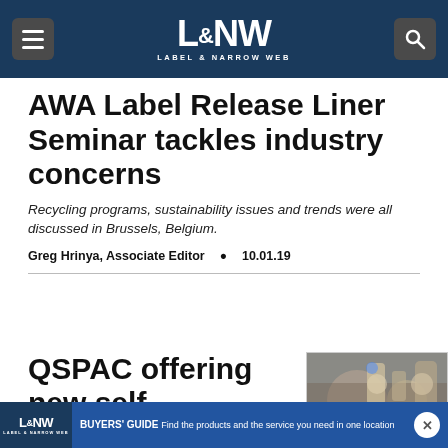L&NW LABEL & NARROW WEB
AWA Label Release Liner Seminar tackles industry concerns
Recycling programs, sustainability issues and trends were all discussed in Brussels, Belgium.
Greg Hrinya, Associate Editor • 10.01.19
[Figure (photo): QSPAC branded machinery/rollers image]
QSPAC offering new self-
L&NW BUYERS' GUIDE Find the products and the service you need in one location